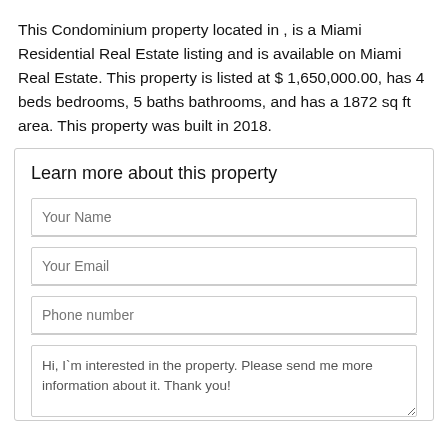This Condominium property located in , is a Miami Residential Real Estate listing and is available on Miami Real Estate. This property is listed at $ 1,650,000.00, has 4 beds bedrooms, 5 baths bathrooms, and has a 1872 sq ft area. This property was built in 2018.
Learn more about this property
Your Name
Your Email
Phone number
Hi, I`m interested in the property. Please send me more information about it. Thank you!